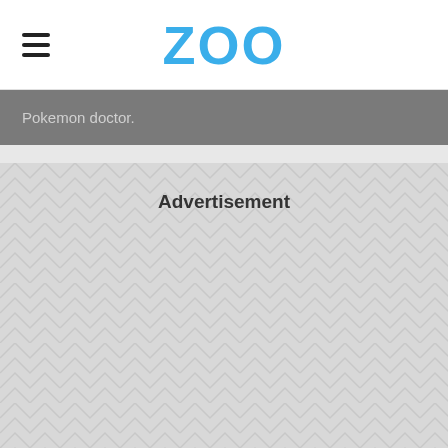ZOO
Pokemon doctor.
Advertisement